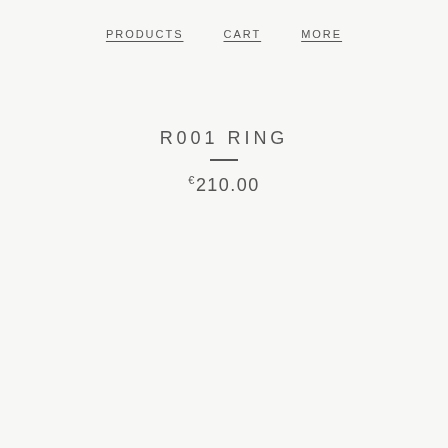PRODUCTS   CART   MORE
R001 RING
€210.00